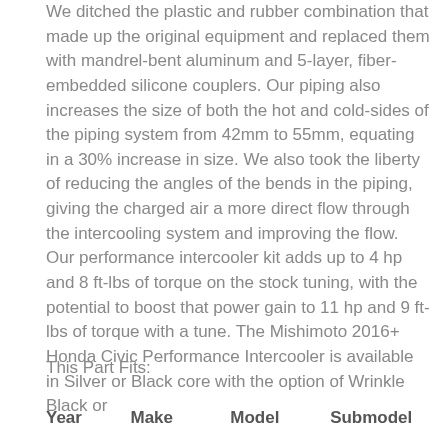We ditched the plastic and rubber combination that made up the original equipment and replaced them with mandrel-bent aluminum and 5-layer, fiber-embedded silicone couplers. Our piping also increases the size of both the hot and cold-sides of the piping system from 42mm to 55mm, equating in a 30% increase in size. We also took the liberty of reducing the angles of the bends in the piping, giving the charged air a more direct flow through the intercooling system and improving the flow. Our performance intercooler kit adds up to 4 hp and 8 ft-lbs of torque on the stock tuning, with the potential to boost that power gain to 11 hp and 9 ft-lbs of torque with a tune. The Mishimoto 2016+ Honda Civic Performance Intercooler is available in Silver or Black core with the option of Wrinkle Black or
This Part Fits:
| Year | Make | Model | Submodel |
| --- | --- | --- | --- |